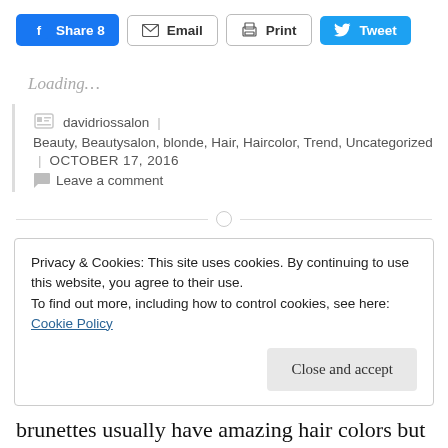[Figure (screenshot): Social share buttons: Facebook Share 8, Email, Print, Tweet]
Loading...
davidriossalon | Beauty, Beautysalon, blonde, Hair, Haircolor, Trend, Uncategorized | OCTOBER 17, 2016
Leave a comment
Privacy & Cookies: This site uses cookies. By continuing to use this website, you agree to their use.
To find out more, including how to control cookies, see here:
Cookie Policy
Close and accept
brunettes usually have amazing hair colors but